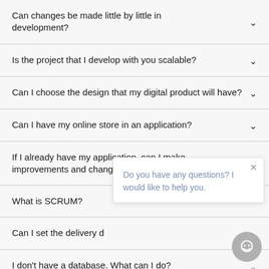Can changes be made little by little in development?
Is the project that I develop with you scalable?
Can I choose the design that my digital product will have?
Can I have my online store in an application?
If I already have my application, can I make improvements and changes?
What is SCRUM?
Can I set the delivery d…
I don't have a database. What can I do?
What is the free hosting and domain for?
Do you have any questions? I would like to help you.